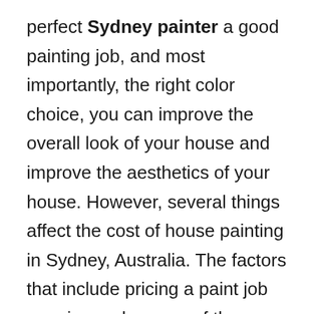perfect Sydney painter a good painting job, and most importantly, the right color choice, you can improve the overall look of your house and improve the aesthetics of your house. However, several things affect the cost of house painting in Sydney, Australia. The factors that include pricing a paint job are size and access of the areas to be painted, types of paint and number of coatings, types of surfaces to be painted and their condition, and much more. Several variables involved in the cost of painting in Sydney can range from almost $1000 to more than $20,000. In this short guide,